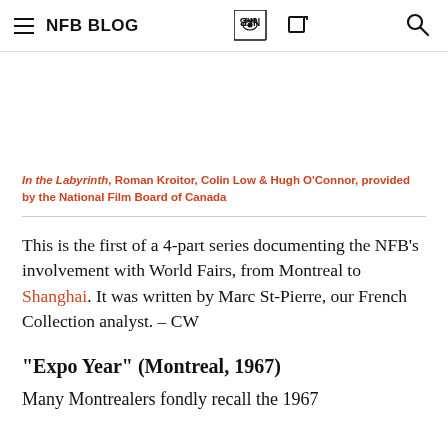NFB BLOG
In the Labyrinth, Roman Kroitor, Colin Low & Hugh O'Connor, provided by the National Film Board of Canada
This is the first of a 4-part series documenting the NFB’s involvement with World Fairs, from Montreal to Shanghai. It was written by Marc St-Pierre, our French Collection analyst. – CW
“Expo Year” (Montreal, 1967)
Many Montrealers fondly recall the 1967...